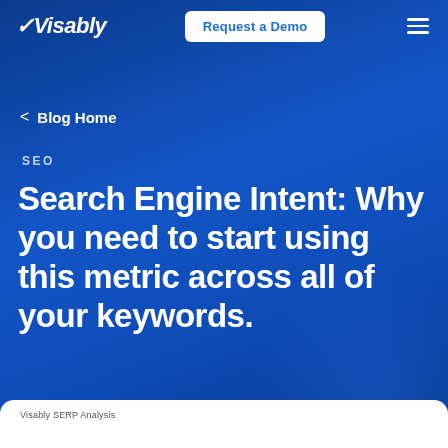Visably | Request a Demo
< Blog Home
SEO
Search Engine Intent: Why you need to start using this metric across all of your keywords.
[Figure (screenshot): Visably SERP Analysis card peek at bottom of page]